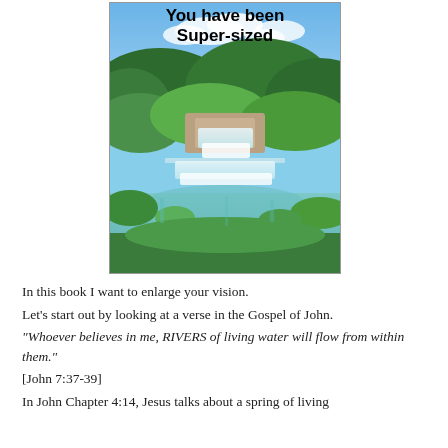[Figure (illustration): Book cover image showing a waterfall scene in a lush green landscape with blue sky and clouds. Bold black text at top reads 'You have been Super-sized'.]
In this book I want to enlarge your vision.
Let's start out by looking at a verse in the Gospel of John.
“Whoever believes in me, RIVERS of living water will flow from within them.”
[John 7:37-39]
In John Chapter 4:14, Jesus talks about a spring of living